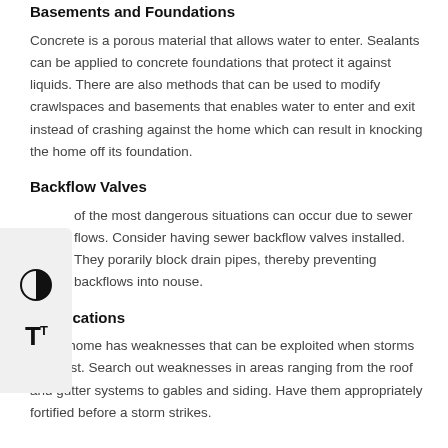Basements and Foundations
Concrete is a porous material that allows water to enter. Sealants can be applied to concrete foundations that protect it against liquids. There are also methods that can be used to modify crawlspaces and basements that enables water to enter and exit instead of crashing against the home which can result in knocking the home off its foundation.
Backflow Valves
of the most dangerous situations can occur due to sewer flows. Consider having sewer backflow valves installed. They porarily block drain pipes, thereby preventing backflows into nouse.
Fortifications
Every home has weaknesses that can be exploited when storms manifest. Search out weaknesses in areas ranging from the roof and gutter systems to gables and siding. Have them appropriately fortified before a storm strikes.